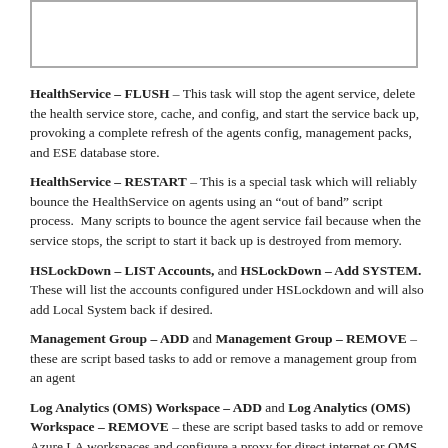[Figure (other): Screenshot or image placeholder at top of page]
HealthService – FLUSH – This task will stop the agent service, delete the health service store, cache, and config, and start the service back up, provoking a complete refresh of the agents config, management packs, and ESE database store.
HealthService – RESTART – This is a special task which will reliably bounce the HealthService on agents using an “out of band” script process.  Many scripts to bounce the agent service fail because when the service stops, the script to start it back up is destroyed from memory.
HSLockDown – LIST Accounts, and HSLockDown – Add SYSTEM. These will list the accounts configured under HSLockdown and will also add Local System back if desired.
Management Group – ADD and Management Group – REMOVE – these are script based tasks to add or remove a management group from an agent
Log Analytics (OMS) Workspace – ADD and Log Analytics (OMS) Workspace – REMOVE – these are script based tasks to add or remove Azure LA workspaces and configure a proxy for direct internet or OMS